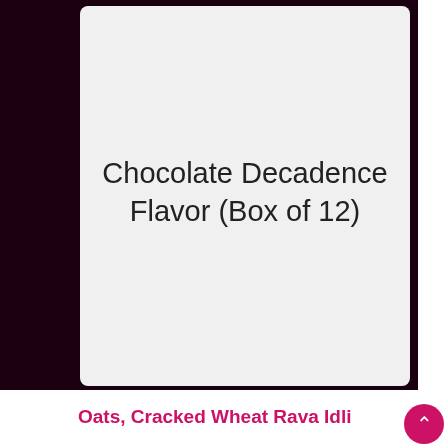[Figure (screenshot): Mobile app UI screenshot showing a product card with 'Chocolate Decadence Flavor (Box of 12)' title, a dark circular arrow/chevron button, and brand name 'Jō Life Foods' on a light gray card background, set against a dark maroon background]
Chocolate Decadence Flavor (Box of 12)
Jō Life Foods
Oats, Cracked Wheat Rava Idli